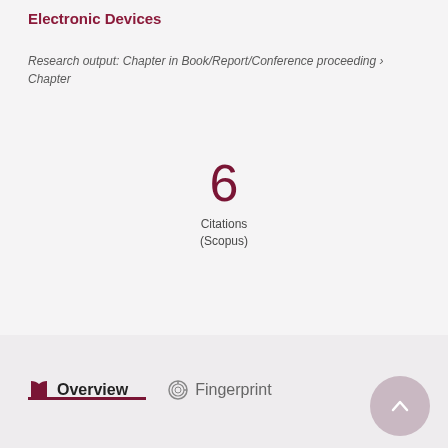Electronic Devices
Research output: Chapter in Book/Report/Conference proceeding › Chapter
6
Citations
(Scopus)
Overview
Fingerprint